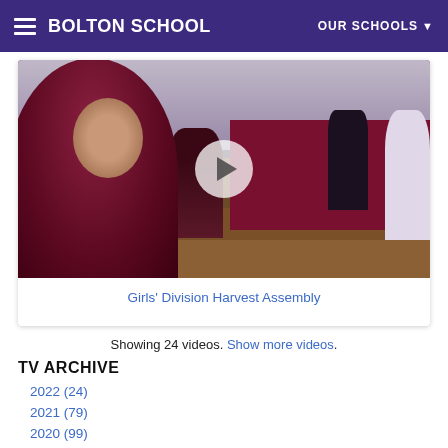BOLTON SCHOOL | OUR SCHOOLS
[Figure (photo): Screenshot of Bolton School website showing a video thumbnail of students at a Girls' Division Harvest Assembly event in a school hall. Students are dressed in maroon uniforms; a play button overlay is visible in the center of the image.]
Girls' Division Harvest Assembly
Showing 24 videos. Show more videos.
TV ARCHIVE
2022 (24)
2021 (79)
2020 (99)